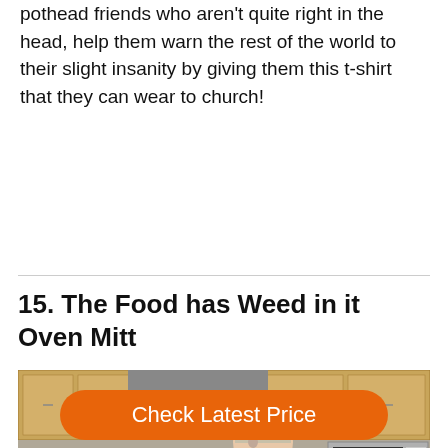pothead friends who aren't quite right in the head, help them warn the rest of the world to their slight insanity by giving them this t-shirt that they can wear to church!
15. The Food has Weed in it Oven Mitt
[Figure (photo): A woman in a blue denim shirt standing in a kitchen with many potted herbs and plants on the counter, wearing a green patterned oven mitt, holding a bag over the counter filled with various ingredients. Kitchen cabinets, microwave, stove, and cooking utensils visible in the background.]
Check Latest Price